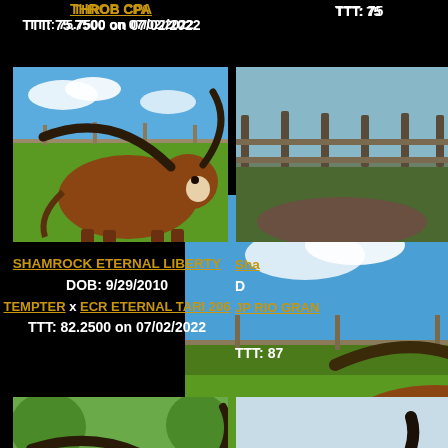THROB CPA
TTT: 75.7500 on 07/02/2022
TTT: 75
[Figure (photo): Texas Longhorn cattle standing in a green pasture with blue sky]
[Figure (photo): Partial view of a cattle or ranch scene]
SHAMROCK ETERNAL LIBERTY
DOB: 9/29/2010
TEMPTER x ECR ETERNAL TARI 206
TTT: 82.2500 on 07/02/2022
Sha
D
JP RIO GRAN
TTT: 87
[Figure (photo): Texas Longhorn cattle with large horns in outdoor setting]
[Figure (photo): Partial view of cattle horns]